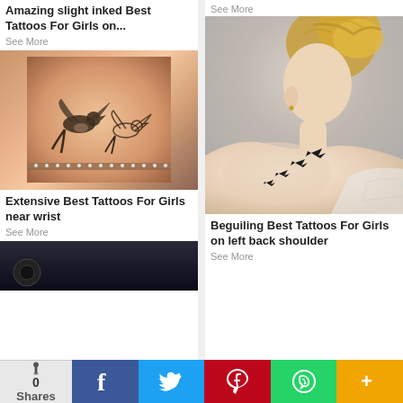Amazing slight inked Best Tattoos For Girls on...
See More
[Figure (photo): Close-up photo of two swallow bird tattoos on a wrist, with a rhinestone bracelet visible]
Extensive Best Tattoos For Girls near wrist
See More
[Figure (photo): Partial view of another tattoo image at bottom of left column]
See More
[Figure (photo): Photo of a young blonde woman seen from behind showing small bird tattoos on her left back shoulder]
Beguiling Best Tattoos For Girls on left back shoulder
See More
0 Shares | Facebook | Twitter | Pinterest | WhatsApp | More